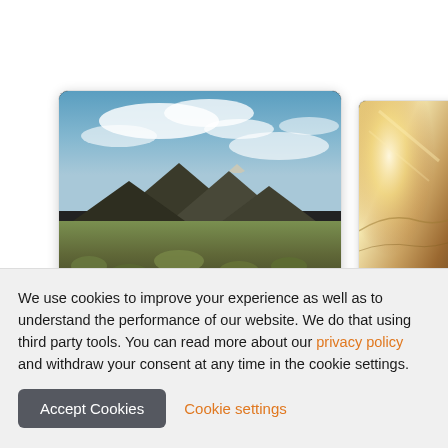[Figure (photo): Card showing a volcanic lava field landscape with mossy rocks in the foreground, dark volcanic mountains in the middle ground, and a partly cloudy blue sky. Text overlay reads 'Guided Volcano Tours'.]
[Figure (photo): Partially visible card showing a bright sunlit aerial or landscape view with warm tones (brown/gold). Text overlay reads 'Half day to...' (cut off).]
We use cookies to improve your experience as well as to understand the performance of our website. We do that using third party tools. You can read more about our privacy policy and withdraw your consent at any time in the cookie settings.